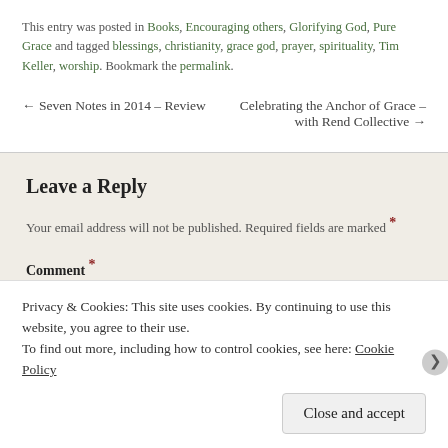This entry was posted in Books, Encouraging others, Glorifying God, Pure Grace and tagged blessings, christianity, grace god, prayer, spirituality, Tim Keller, worship. Bookmark the permalink.
← Seven Notes in 2014 – Review
Celebrating the Anchor of Grace – with Rend Collective →
Leave a Reply
Your email address will not be published. Required fields are marked *
Comment *
Privacy & Cookies: This site uses cookies. By continuing to use this website, you agree to their use.
To find out more, including how to control cookies, see here: Cookie Policy
Close and accept